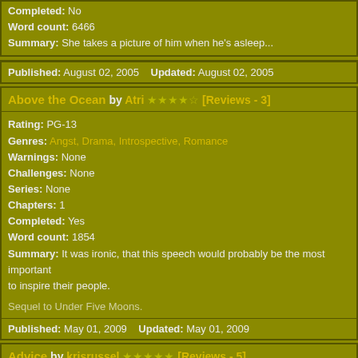Completed: No
Word count: 6466
Summary: She takes a picture of him when he's asleep...
Published: August 02, 2005   Updated: August 02, 2005
Above the Ocean by Atri ★★★★☆ [Reviews - 3]
Rating: PG-13
Genres: Angst, Drama, Introspective, Romance
Warnings: None
Challenges: None
Series: None
Chapters: 1
Completed: Yes
Word count: 1854
Summary: It was ironic, that this speech would probably be the most important to inspire their people.

Sequel to Under Five Moons.
Published: May 01, 2009   Updated: May 01, 2009
Advice by krisrussel ★★★★★ [Reviews - 5]
Rating: PG
Genres: Angst, Drama, Romance
Warnings: None
Challenges: None
Series: None
Chapters: 1